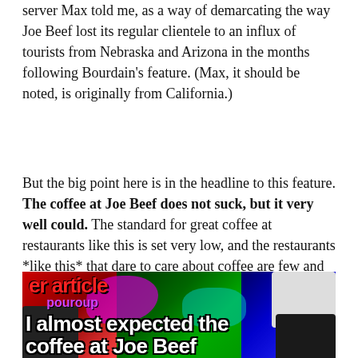server Max told me, as a way of demarcating the way Joe Beef lost its regular clientele to an influx of tourists from Nebraska and Arizona in the months following Bourdain's feature. (Max, it should be noted, is originally from California.)
But the big point here is in the headline to this feature. The coffee at Joe Beef does not suck, but it very well could. The standard for great coffee at restaurants like this is set very low, and the restaurants *like this* that dare to care about coffee are few and far between. I could give you a little list of top restaurants doing nice coffee around the world, but I assure you, dear reader, that it would be a very little list.
[Figure (photo): A colorful collage/meme image showing coffee machines overlaid with text on a dark background with red, green, blue, magenta overlays. Text reads 'er article' at top, 'I almost expected the coffee at Joe Beef' at bottom in white bold letters.]